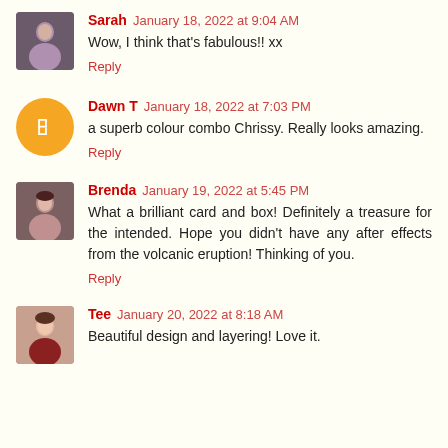Sarah January 18, 2022 at 9:04 AM
Wow, I think that's fabulous!! xx
Reply
Dawn T January 18, 2022 at 7:03 PM
a superb colour combo Chrissy. Really looks amazing.
Reply
Brenda January 19, 2022 at 5:45 PM
What a brilliant card and box! Definitely a treasure for the intended. Hope you didn't have any after effects from the volcanic eruption! Thinking of you.
Reply
Tee January 20, 2022 at 8:18 AM
Beautiful design and layering! Love it.